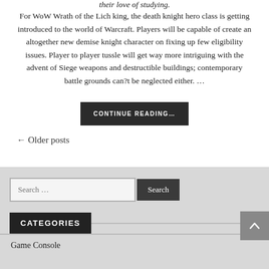their love of studying.
For WoW Wrath of the Lich king, the death knight hero class is getting introduced to the world of Warcraft. Players will be capable of create an altogether new demise knight character on fixing up few eligibility issues. Player to player tussle will get way more intriguing with the advent of Siege weapons and destructible buildings; contemporary battle grounds can?t be neglected either. …
CONTINUE READING…
← Older posts
Search …
CATEGORIES
Game Console